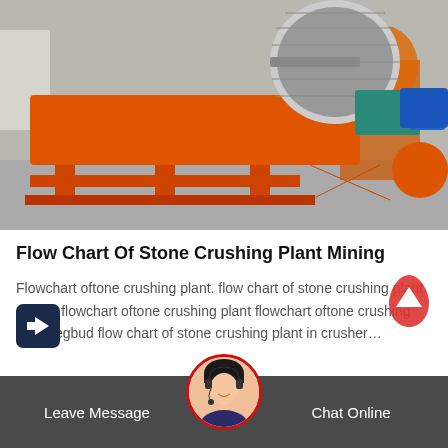[Figure (photo): Orange industrial magnetic separator machine with cylindrical drum and blue electric motor on a metal frame, photographed in a warehouse/factory setting]
Flow Chart Of Stone Crushing Plant Mining
Flowchart oftone crushing plant. flow chart of stone crushing plant mining flowchart oftone crushing plant flowchart oftone crushing plant regbud flow chart of stone crushing plant in crusher…
Leave Message | Chat Online